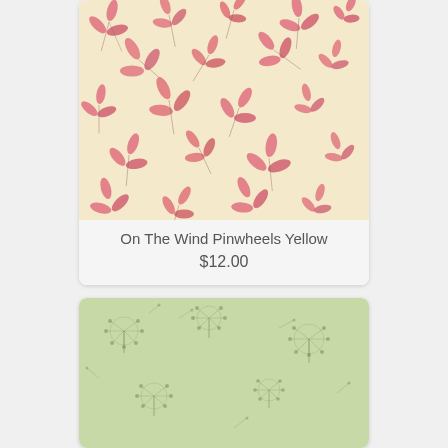[Figure (illustration): Fabric swatch showing pink pinwheel pattern on a cream/yellow background, scattered across the surface]
On The Wind Pinwheels Yellow
$12.00
[Figure (illustration): Fabric swatch showing dandelion seed heads (wisps) pattern on a light green background, scattered across the surface]